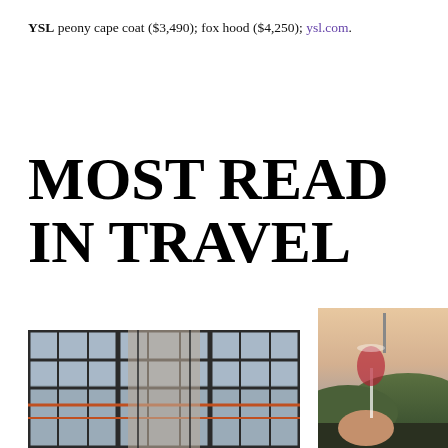YSL peony cape coat ($3,490); fox hood ($4,250); ysl.com.
MOST READ IN TRAVEL
[Figure (photo): Art deco style window looking out over a cityscape, with geometric black metal framing and orange/red accent bars]
[Figure (photo): Hand holding a glass of wine against a scenic hillside landscape at dusk/sunset]